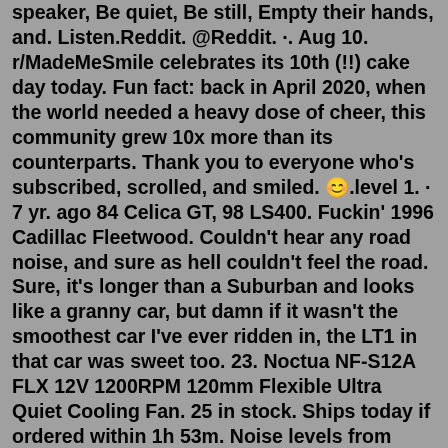speaker, Be quiet, Be still, Empty their hands, and. Listen.Reddit. @Reddit. ·. Aug 10. r/MadeMeSmile celebrates its 10th (!!) cake day today. Fun fact: back in April 2020, when the world needed a heavy dose of cheer, this community grew 10x more than its counterparts. Thank you to everyone who's subscribed, scrolled, and smiled. 😊.level 1. · 7 yr. ago 84 Celica GT, 98 LS400. Fuckin' 1996 Cadillac Fleetwood. Couldn't hear any road noise, and sure as hell couldn't feel the road. Sure, it's longer than a Suburban and looks like a granny car, but damn if it wasn't the smoothest car I've ever ridden in, the LT1 in that car was sweet too. 23. Noctua NF-S12A FLX 12V 1200RPM 120mm Flexible Ultra Quiet Cooling Fan. 25 in stock. Ships today if ordered within 1h 53m. Noise levels from only 7.4 dB (A) High 63.27 CFM airflow. Advanced Acoustic Optimisation Frame. Three speed settings for maximum quietness. Smooth SSO-Bearings. Six year warranty. There are no cars that are quiet. It doesn't matter the time of